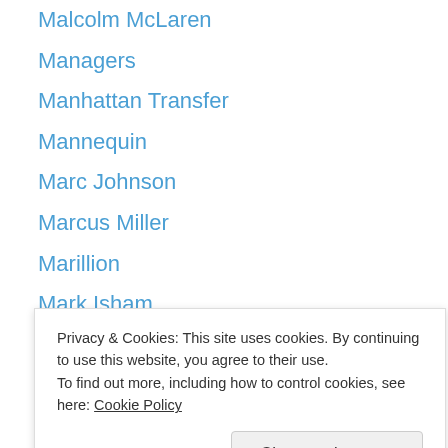Malcolm McLaren
Managers
Manhattan Transfer
Mannequin
Marc Johnson
Marcus Miller
Marillion
Mark Isham
Mark King
Mark Stewart
Marvin Gaye
Matt Bianco
Max Headroom
Privacy & Cookies: This site uses cookies. By continuing to use this website, you agree to their use.
To find out more, including how to control cookies, see here: Cookie Policy
Mick Karn